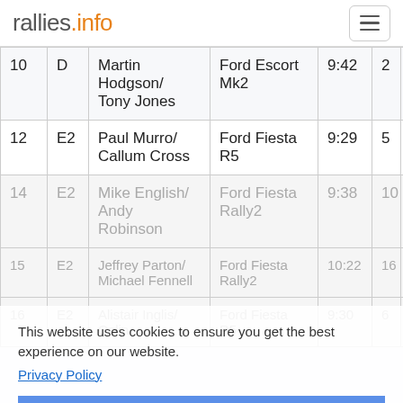rallies.info
| # | Class | Crew | Car | Time |  |  |
| --- | --- | --- | --- | --- | --- | --- |
| 10 | D | Martin Hodgson/ Tony Jones | Ford Escort Mk2 | 9:42 | 2 | 15 |
| 12 | E2 | Paul Murro/ Callum Cross | Ford Fiesta R5 | 9:29 | 5 | 6 |
| 14 | E2 | Mike English/ Andy Robinson | Ford Fiesta Rally2 | 9:38 | 10 | 12 |
| 15 | E2 | Jeffrey Parton/ Michael Fennell | Ford Fiesta Rally2 | 10:22 | 16 | 20 |
| 16 | E2 | Alistair Inglis/ Colin | Ford Fiesta R5 | 9:30 | 6 | 7 |
This website uses cookies to ensure you get the best experience on our website.
Privacy Policy
Okay